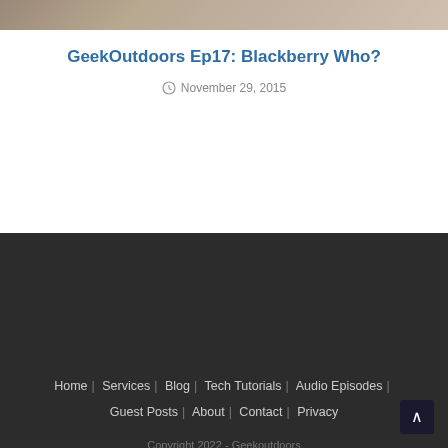[Figure (photo): Partial photo strip at top of page showing what appears to be an outdoor or tech item, cropped at the top]
GeekOutdoors Ep17: Blackberry Who?
November 29, 2015
Home | Services | Blog | Tech Tutorials | Audio Episodes | Guest Posts | About | Contact | Privacy
Copyright 2022 - Geekoutdoors